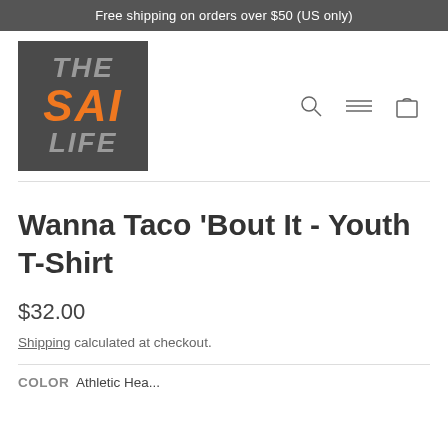Free shipping on orders over $50 (US only)
[Figure (logo): The Sai Life logo: dark gray square with 'THE' and 'LIFE' in gray italic bold text and 'SAI' in orange italic bold text]
Wanna Taco 'Bout It - Youth T-Shirt
$32.00
Shipping calculated at checkout.
COLOR Athletic Hea...